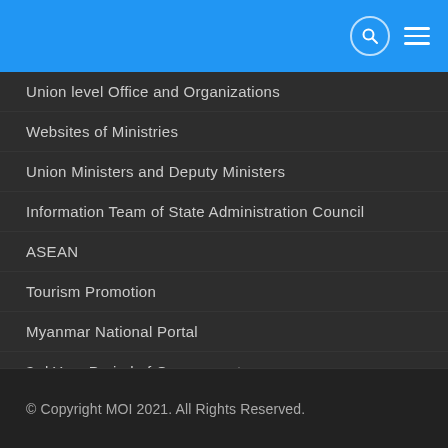Union level Office and Organizations
Websites of Ministries
Union Ministers and Deputy Ministers
Information Team of State Administration Council
ASEAN
Tourism Promotion
Myanmar National Portal
3rd Year Period of Government
4th One Year Period of Government
e–Services
© Copyright MOI 2021. All Rights Reserved.